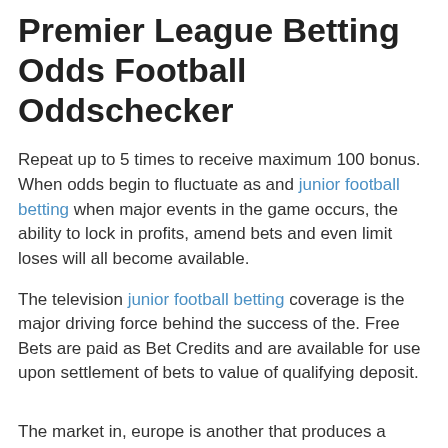Premier League Betting Odds Football Oddschecker
Repeat up to 5 times to receive maximum 100 bonus. When odds begin to fluctuate as and junior football betting when major events in the game occurs, the ability to lock in profits, amend bets and even limit loses will all become available.
The television junior football betting coverage is the major driving force behind the success of the. Free Bets are paid as Bet Credits and are available for use upon settlement of bets to value of qualifying deposit.
The market in, europe is another that produces a massive following for the league. As the league is based in England the biggest following naturally comes from the. Countries such as Germany, Spain, France, Italy, Holland, Belgium, Portugal and more have competitive leagues of their own, but few that conjure up the appeal that the Premier League offers. Bonuses have a 7-day expiry.
Premier, league with satellite and terrestrial television